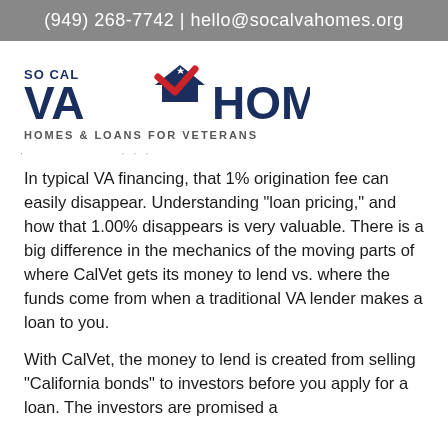(949) 268-7742 | hello@socalvahomes.org
[Figure (logo): So Cal VA Homes logo with house/checkmark graphic and tagline 'HOMES & LOANS FOR VETERANS']
In typical VA financing, that 1% origination fee can easily disappear. Understanding “loan pricing,” and how that 1.00% disappears is very valuable. There is a big difference in the mechanics of the moving parts of where CalVet gets its money to lend vs. where the funds come from when a traditional VA lender makes a loan to you.
With CalVet, the money to lend is created from selling “California bonds” to investors before you apply for a loan. The investors are promised a